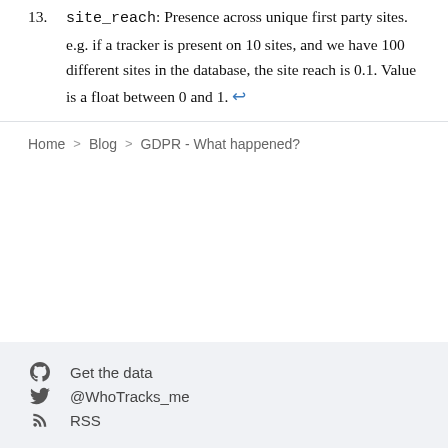13. site_reach: Presence across unique first party sites. e.g. if a tracker is present on 10 sites, and we have 100 different sites in the database, the site reach is 0.1. Value is a float between 0 and 1. ↩
Home > Blog > GDPR - What happened?
Get the data
@WhoTracks_me
RSS